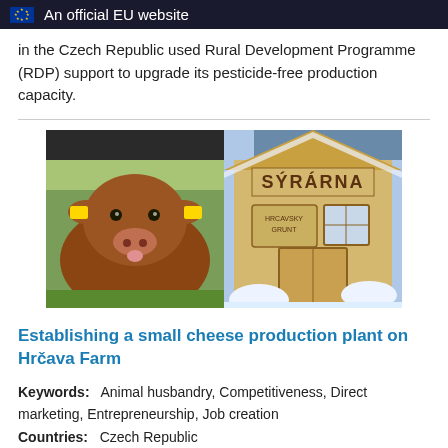An official EU website
in the Czech Republic used Rural Development Programme (RDP) support to upgrade its pesticide-free production capacity.
[Figure (photo): Two photos side by side: left photo shows a brown calf with yellow ear tags facing the camera in a green field; right photo shows a building with a sign reading 'SÝRÁRNA' (cheese dairy) covered in snow.]
Establishing a small cheese production plant on Hrčava Farm
Keywords: Animal husbandry, Competitiveness, Direct marketing, Entrepreneurship, Job creation
Countries: Czech Republic